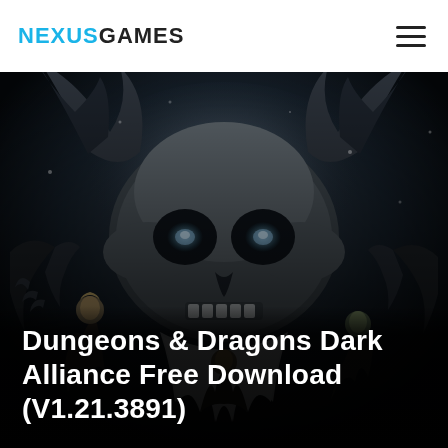NEXUSGAMES
[Figure (photo): Dark fantasy game cover art for Dungeons & Dragons Dark Alliance featuring a massive horned skull-faced creature looming over small warrior characters against a dark, moody background.]
Dungeons & Dragons Dark Alliance Free Download (V1.21.3891)